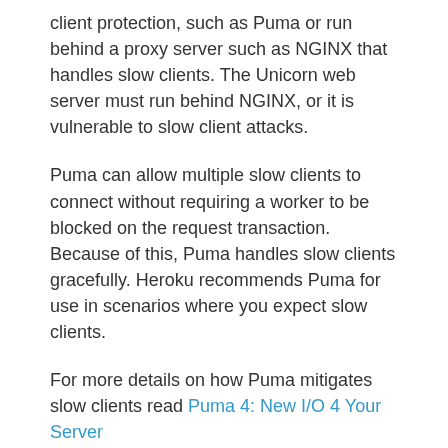client protection, such as Puma or run behind a proxy server such as NGINX that handles slow clients. The Unicorn web server must run behind NGINX, or it is vulnerable to slow client attacks.
Puma can allow multiple slow clients to connect without requiring a worker to be blocked on the request transaction. Because of this, Puma handles slow clients gracefully. Heroku recommends Puma for use in scenarios where you expect slow clients.
For more details on how Puma mitigates slow clients read Puma 4: New I/O 4 Your Server
Database connections
As you add more concurrency to your application, it will need more connections to your database. A good formula for determining the number of